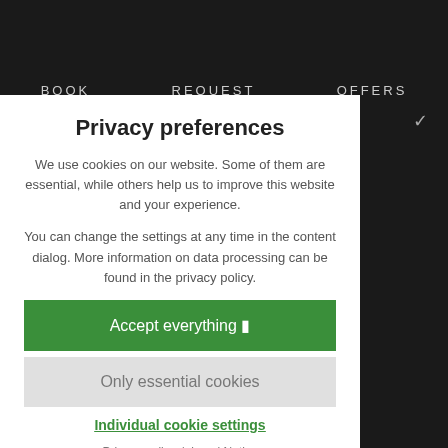BOOK   REQUEST   OFFERS
Privacy preferences
We use cookies on our website. Some of them are essential, while others help us to improve this website and your experience.
You can change the settings at any time in the content dialog. More information on data processing can be found in the privacy policy.
Accept everything 🍪
Only essential cookies
Individual cookie settings
Privacy policy | Legal Notice